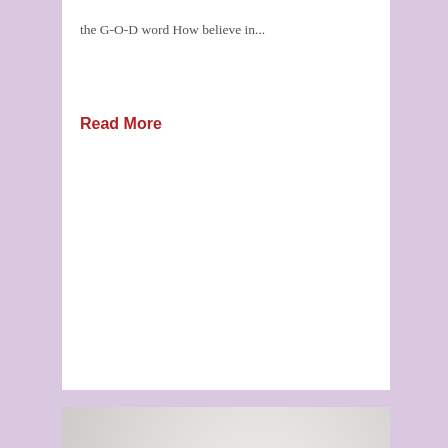the G-O-D word How believe in...
Read More
[Figure (photo): Black and white photo of a young man with curly hair looking downward, wearing over-ear headphones around his neck, smiling.]